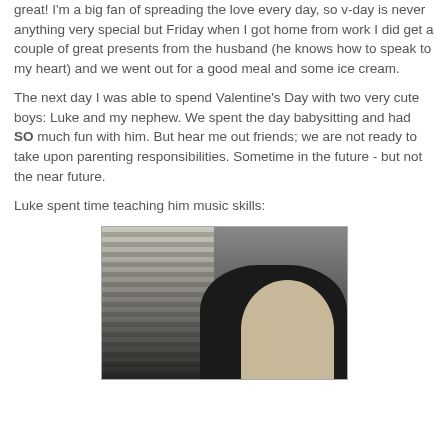great! I'm a big fan of spreading the love every day, so v-day is never anything very special but Friday when I got home from work I did get a couple of great presents from the husband (he knows how to speak to my heart) and we went out for a good meal and some ice cream.
The next day I was able to spend Valentine's Day with two very cute boys: Luke and my nephew. We spent the day babysitting and had SO much fun with him. But hear me out friends; we are not ready to take upon parenting responsibilities. Sometime in the future - but not the near future.
Luke spent time teaching him music skills:
[Figure (photo): A photo showing two people close together — one with dark spiky hair and one who appears bald — in what looks like an indoor setting with window blinds visible in the background.]